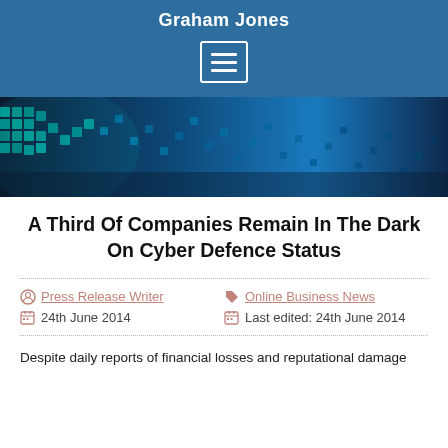Graham Jones
[Figure (illustration): Blue digital/tech themed hero image with glowing grid pattern in cyan and blue tones]
A Third Of Companies Remain In The Dark On Cyber Defence Status
Press Release Writer   Online Business News   24th June 2014   Last edited: 24th June 2014
Despite daily reports of financial losses and reputational damage